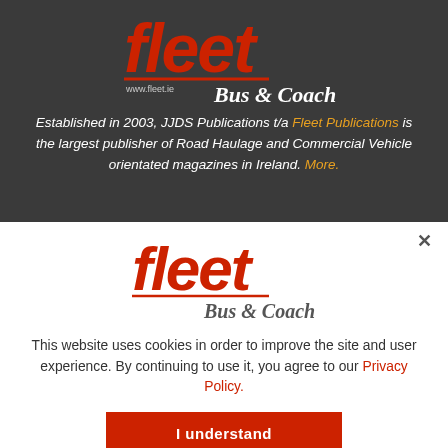[Figure (logo): Fleet Bus & Coach logo with www.fleet.ie URL in red italic lettering on dark background]
Established in 2003, JJDS Publications t/a Fleet Publications is the largest publisher of Road Haulage and Commercial Vehicle orientated magazines in Ireland. More.
[Figure (logo): Fleet Bus & Coach logo in red italic lettering on white background, with close X button]
This website uses cookies in order to improve the site and user experience. By continuing to use it, you agree to our Privacy Policy.
I understand